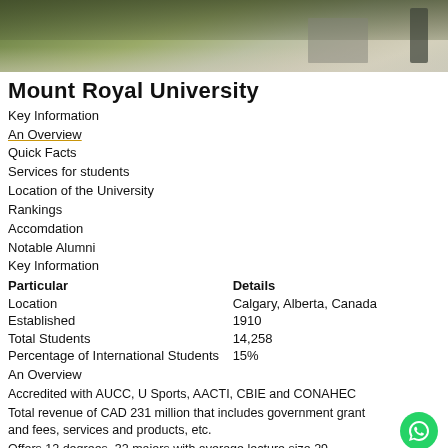[Figure (photo): Outdoor photo of Mount Royal University campus buildings or grounds]
Mount Royal University
Key Information
An Overview
Quick Facts
Services for students
Location of the University
Rankings
Accomdation
Notable Alumni
Key Information
| Particular | Details |
| --- | --- |
| Location | Calgary, Alberta, Canada |
| Established | 1910 |
| Total Students | 14,258 |
| Percentage of International Students | 15% |
An Overview
Accredited with AUCC, U Sports, AACTI, CBIE and CONAHEC
Total revenue of CAD 231 million that includes government grant and fees, services and products, etc.
Offers 12 degrees, 32 majors with average lecture size 29
Scholarships and bursaries worth CAD 3.8 million awarded to students in the